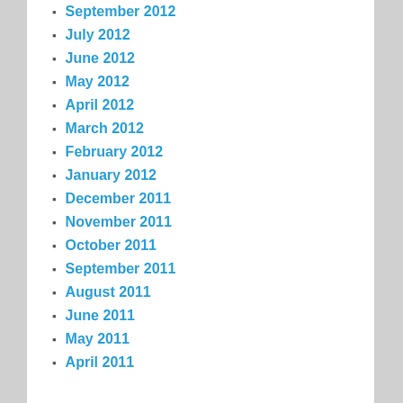September 2012
July 2012
June 2012
May 2012
April 2012
March 2012
February 2012
January 2012
December 2011
November 2011
October 2011
September 2011
August 2011
June 2011
May 2011
April 2011
META
Log in